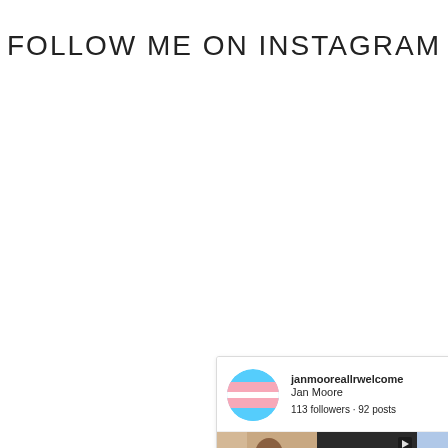FOLLOW ME ON INSTAGRAM
[Figure (screenshot): Instagram profile widget for janmooreallrwelcome (Jan Moore), showing 113 followers and 92 posts, with a 2x3 grid of photos/videos and a 'View full profile on Instagram' button.]